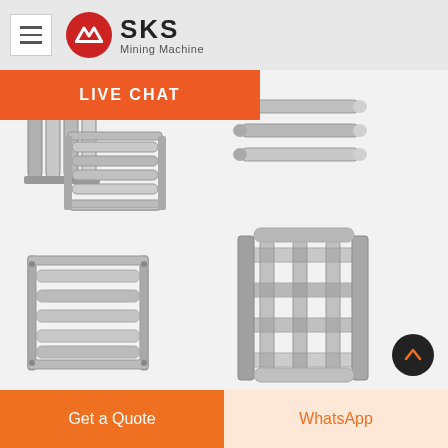[Figure (logo): SKS Mining Machine logo with red circular icon and text]
LIVE CHAT
[Figure (photo): Magnetic filter bar rods and grid assemblies for mining/industrial use – four product images showing individual magnetic rods and assembled magnetic grid separators]
Get a Quote
WhatsApp